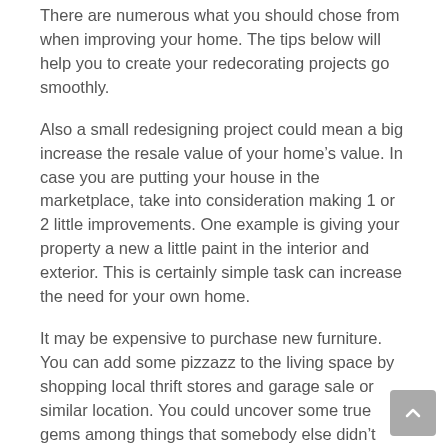There are numerous what you should chose from when improving your home. The tips below will help you to create your redecorating projects go smoothly.
Also a small redesigning project could mean a big increase the resale value of your home’s value. In case you are putting your house in the marketplace, take into consideration making 1 or 2 little improvements. One example is giving your property a new a little paint in the interior and exterior. This is certainly simple task can increase the need for your own home.
It may be expensive to purchase new furniture. You can add some pizzazz to the living space by shopping local thrift stores and garage sale or similar location. You could uncover some true gems among things that somebody else didn’t want.Some may need a lot of employment, but with a little hard work and time, they can become an asset.
Think about what you’re going to do before making your